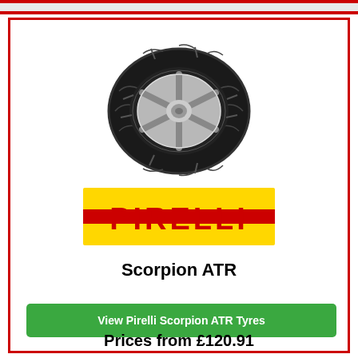[Figure (photo): Pirelli Scorpion ATR tyre with silver alloy wheel, viewed at an angle against white background]
[Figure (logo): Pirelli logo: red text PIRELLI with yellow background and red horizontal line through letters]
Scorpion ATR
View Pirelli Scorpion ATR Tyres
Prices from £120.91